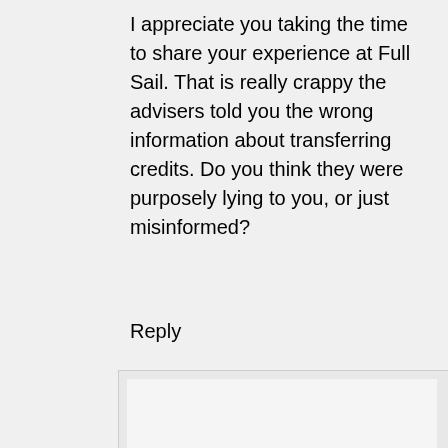I appreciate you taking the time to share your experience at Full Sail. That is really crappy the advisers told you the wrong information about transferring credits. Do you think they were purposely lying to you, or just misinformed?
Reply
Jacqueline
Comment